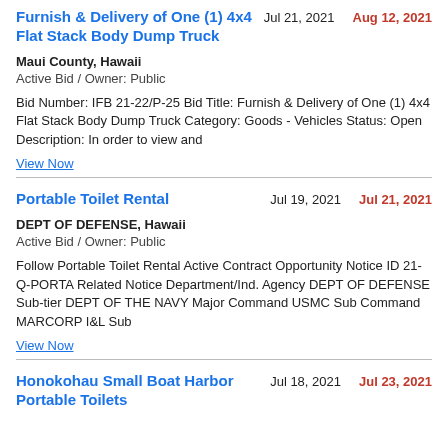Furnish & Delivery of One (1) 4x4 Flat Stack Body Dump Truck
Jul 21, 2021  Aug 12, 2021
Maui County, Hawaii
Active Bid / Owner: Public
Bid Number: IFB 21-22/P-25 Bid Title: Furnish & Delivery of One (1) 4x4 Flat Stack Body Dump Truck Category: Goods - Vehicles Status: Open Description: In order to view and
View Now
Portable Toilet Rental
Jul 19, 2021  Jul 21, 2021
DEPT OF DEFENSE, Hawaii
Active Bid / Owner: Public
Follow Portable Toilet Rental Active Contract Opportunity Notice ID 21-Q-PORTA Related Notice Department/Ind. Agency DEPT OF DEFENSE Sub-tier DEPT OF THE NAVY Major Command USMC Sub Command MARCORP I&L Sub
View Now
Honokohau Small Boat Harbor Portable Toilets
Jul 18, 2021  Jul 23, 2021